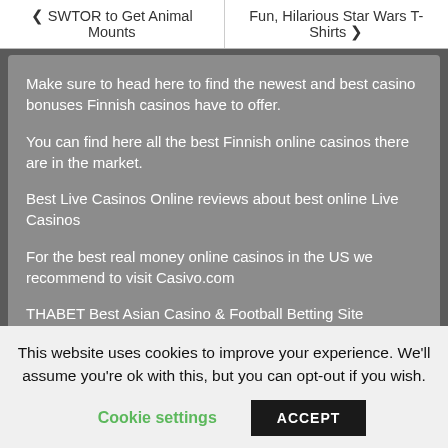< SWTOR to Get Animal Mounts | Fun, Hilarious Star Wars T-Shirts >
Make sure to head here to find the newest and best casino bonuses Finnish casinos have to offer.
You can find here all the best Finnish online casinos there are in the market.
Best Live Casinos Online reviews about best online Live Casinos
For the best real money online casinos in the US we recommend to visit Casivo.com
THABET Best Asian Casino & Football Betting Site
Online Slots Japan
Vind de beste Nederlandse online casinos
This website uses cookies to improve your experience. We'll assume you're ok with this, but you can opt-out if you wish.
Cookie settings | ACCEPT